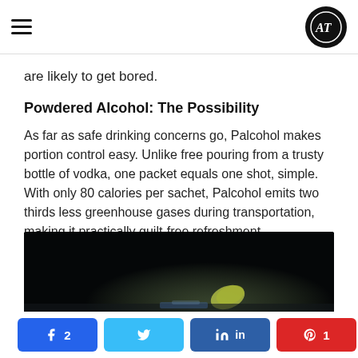AT (logo)
are likely to get bored.
Powdered Alcohol: The Possibility
As far as safe drinking concerns go, Palcohol makes portion control easy. Unlike free pouring from a trusty bottle of vodka, one packet equals one shot, simple. With only 80 calories per sachet, Palcohol emits two thirds less greenhouse gases during transportation, making it practically guilt-free refreshment.
[Figure (photo): Dark blurry photo of a cocktail drink with a lime wedge slice visible against a dark background]
Share buttons: Facebook 2, Twitter, LinkedIn, Pinterest 1, Share 3 SHARES